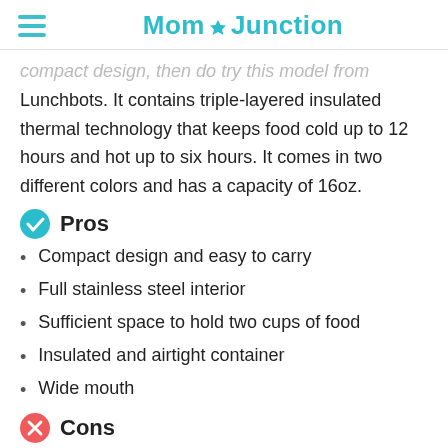MomJunction
compact design, then do try this model from Lunchbots. It contains triple-layered insulated thermal technology that keeps food cold up to 12 hours and hot up to six hours. It comes in two different colors and has a capacity of 16oz.
Pros
Compact design and easy to carry
Full stainless steel interior
Sufficient space to hold two cups of food
Insulated and airtight container
Wide mouth
Cons
The lid gets jammed when extremely hot